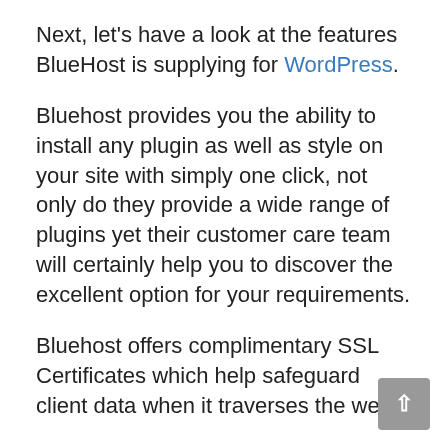Next, let's have a look at the features BlueHost is supplying for WordPress.
Bluehost provides you the ability to install any plugin as well as style on your site with simply one click, not only do they provide a wide range of plugins yet their customer care team will certainly help you to discover the excellent option for your requirements.
Bluehost offers complimentary SSL Certificates which help safeguard client data when it traverses the web.
And also because Bluehost makes use of Let's Encrypt, the certificates are instantly renewed every 3 months by default making